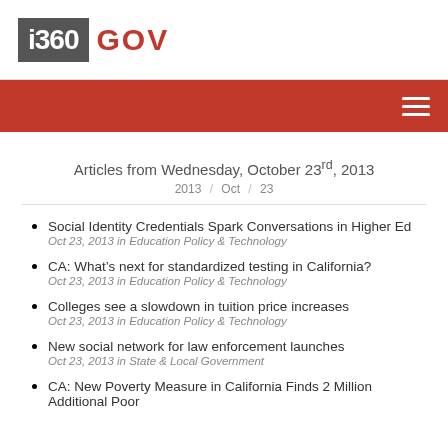i360 GOV
Articles from Wednesday, October 23rd, 2013
2013 / Oct / 23
Social Identity Credentials Spark Conversations in Higher Ed
Oct 23, 2013 in Education Policy & Technology
CA: What’s next for standardized testing in California?
Oct 23, 2013 in Education Policy & Technology
Colleges see a slowdown in tuition price increases
Oct 23, 2013 in Education Policy & Technology
New social network for law enforcement launches
Oct 23, 2013 in State & Local Government
CA: New Poverty Measure in California Finds 2 Million Additional Poor